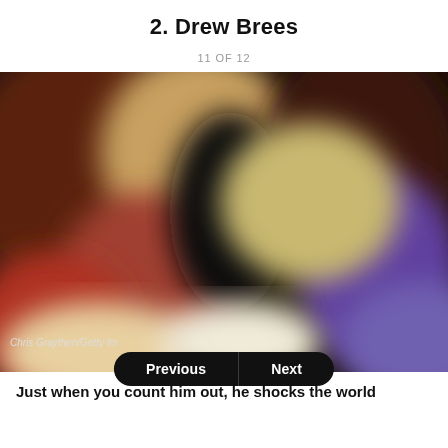2. Drew Brees
11 OF 12
[Figure (photo): Blurred photograph of Drew Brees, appears to show people in a crowded or celebratory setting. Photo credit: Chris Graythen/Getty Im...]
Chris Graythen/Getty Im
Just when you count him out, he shocks the world